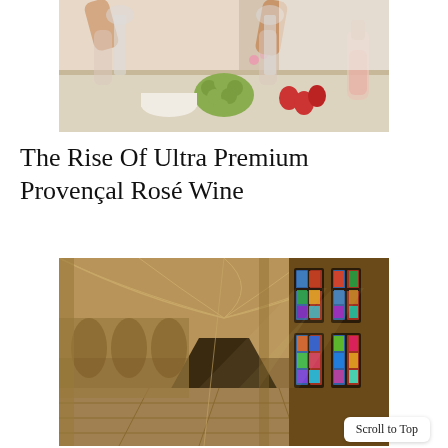[Figure (photo): People clinking wine glasses at a table with fruits including grapes and strawberries, and a carafe of rosé wine]
The Rise Of Ultra Premium Provençal Rosé Wine
[Figure (photo): Interior of a Gothic cathedral hallway with ornate fan-vaulted ceiling and colorful stained glass windows on the right side]
Scroll to Top